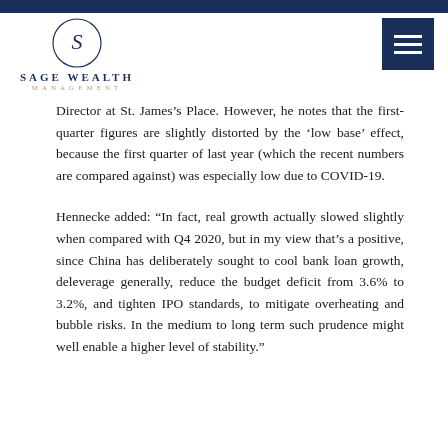SAGE WEALTH MANAGEMENT
Director at St. James's Place. However, he notes that the first-quarter figures are slightly distorted by the 'low base' effect, because the first quarter of last year (which the recent numbers are compared against) was especially low due to COVID-19.
Hennecke added: “In fact, real growth actually slowed slightly when compared with Q4 2020, but in my view that’s a positive, since China has deliberately sought to cool bank loan growth, deleverage generally, reduce the budget deficit from 3.6% to 3.2%, and tighten IPO standards, to mitigate overheating and bubble risks. In the medium to long term such prudence might well enable a higher level of stability.”